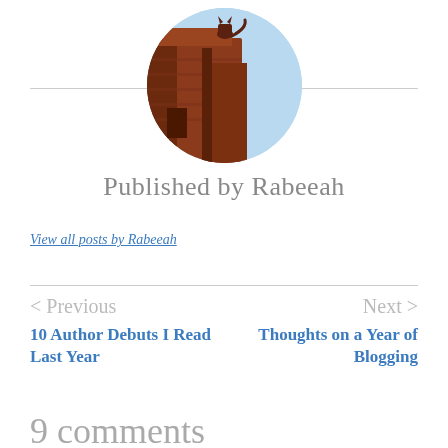[Figure (photo): Circular avatar photo showing a building with brown/terracotta architecture against a light blue sky background.]
Published by Rabeeah
View all posts by Rabeeah
< Previous
10 Author Debuts I Read Last Year
Next >
Thoughts on a Year of Blogging
9 comments